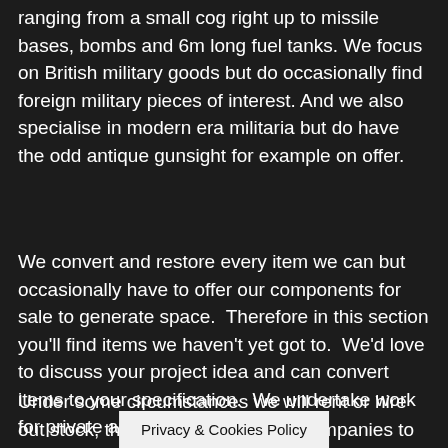ranging from a small cog right up to missile bases, bombs and 6m long fuel tanks. We focus on British military goods but do occasionally find foreign military pieces of interest. And we also specialise in modern era militaria but do have the odd antique gunsight for example on offer.
We convert and restore every item we can but occasionally have to offer our components for sale to generate space.  Therefore in this section you'll find items we haven't yet got to.  We'd love to discuss your project idea and can convert items to your specification.  We undertake work for private and commercial clients.
Under some circumstances we will rent or hire out stock, this tends to be for film companies to use on set as props.  Having said that these days over sized furniture is very fash[ionable and we could consider
Privacy & Cookies Policy